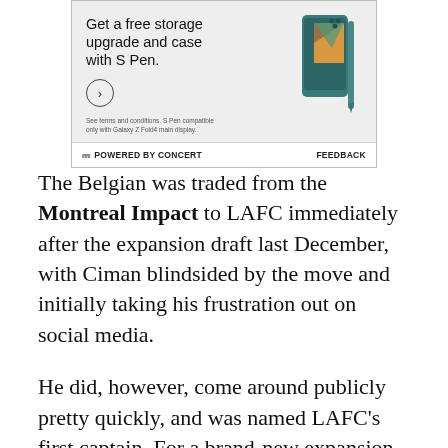[Figure (advertisement): Samsung Galaxy Z Fold advertisement showing 'Get a free storage upgrade and case with S Pen.' text with phone image, circle arrow button, fine print, and footer with POWERED BY CONCERT and FEEDBACK labels]
The Belgian was traded from the Montreal Impact to LAFC immediately after the expansion draft last December, with Ciman blindsided by the move and initially taking his frustration out on social media.
He did, however, come around publicly pretty quickly, and was named LAFC’s first captain. For a brand-new expansion team that still had quite a bit of MLS experience on the roster, that was not insignificant.
Ciman paired with Dejan Jakovic and then primary